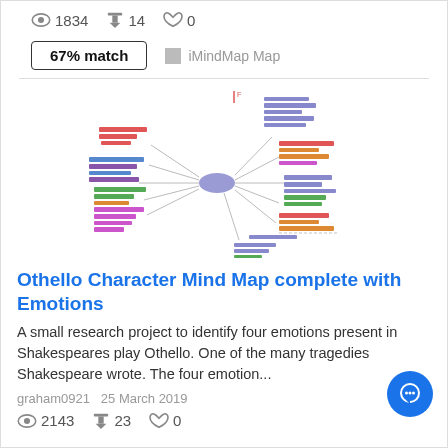👁 1834   ⬇ 14   👍 0
67% match   □ iMindMap Map
[Figure (other): A colorful mind map diagram showing Othello character connections with multiple branches in blue, red, green, orange, and pink colors radiating from a central node.]
Othello Character Mind Map complete with Emotions
A small research project to identify four emotions present in Shakespeares play Othello. One of the many tragedies Shakespeare wrote. The four emotion...
graham0921   25 March 2019
👁 2143   ⬇ 23   👍 0